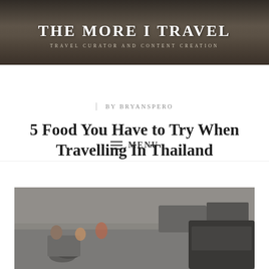THE MORE I TRAVEL
TRAVEL CURATOR AND CONTENT CREATION
MENU
| BY BRYANSPERO
5 Food You Have to Try When Travelling In Thailand
[Figure (photo): Blurry street scene in Thailand showing motorcycles and cars on a busy road]